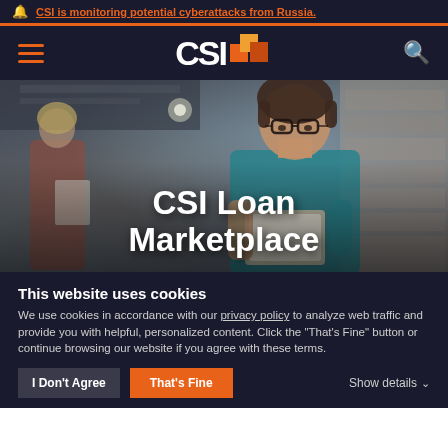CSI is monitoring potential cyberattacks from Russia.
[Figure (logo): CSI logo with orange geometric icon in dark navy navigation bar with hamburger menu and search icon]
[Figure (photo): Hero image showing a man with glasses looking at a tablet, with a woman in background, overlaid with large white text 'CSI Loan Marketplace']
CSI Loan Marketplace
This website uses cookies
We use cookies in accordance with our privacy policy to analyze web traffic and provide you with helpful, personalized content. Click the "That's Fine" button or continue browsing our website if you agree with these terms.
I Don't Agree | That's Fine | Show details